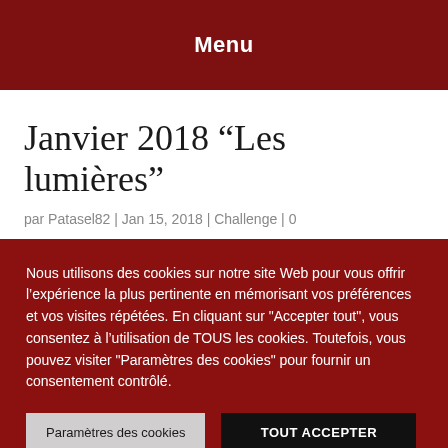Menu
Janvier 2018 “Les lumières”
par Patasel82 | Jan 15, 2018 | Challenge | 0
Nous utilisons des cookies sur notre site Web pour vous offrir l’expérience la plus pertinente en mémorisant vos préférences et vos visites répétées. En cliquant sur "Accepter tout", vous consentez à l’utilisation de TOUS les cookies. Toutefois, vous pouvez visiter "Paramètres des cookies" pour fournir un consentement contrôlé.
Paramètres des cookies
TOUT ACCEPTER